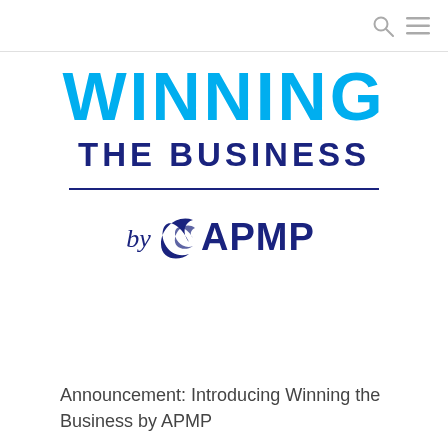[Figure (logo): Winning the Business by APMP logo. Large bold cyan text 'WINNING', dark navy text 'THE BUSINESS', a horizontal navy divider line, and italic 'by' followed by the APMP swoosh logo in navy.]
Announcement: Introducing Winning the Business by APMP